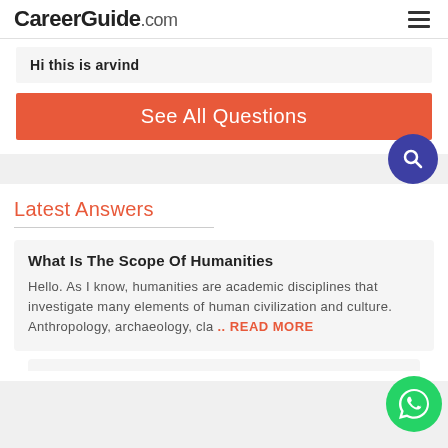CareerGuide.com
Hi this is arvind
See All Questions
Latest Answers
What Is The Scope Of Humanities
Hello. As I know, humanities are academic disciplines that investigate many elements of human civilization and culture. Anthropology, archaeology, cla .. READ MORE